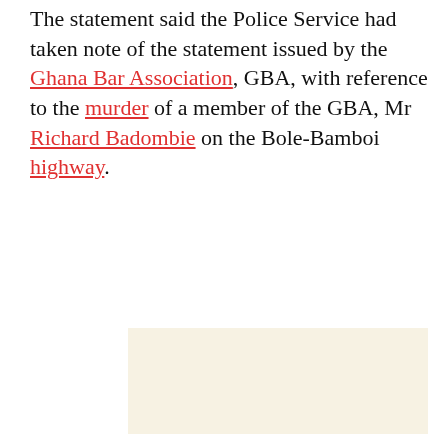The statement said the Police Service had taken note of the statement issued by the Ghana Bar Association, GBA, with reference to the murder of a member of the GBA, Mr Richard Badombie on the Bole-Bamboi highway.
[Figure (other): A light cream/beige colored rectangular advertisement or image placeholder box]